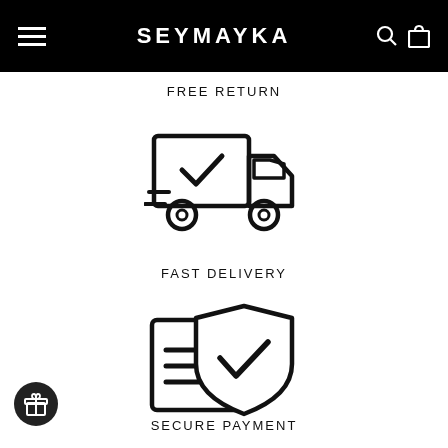SEYMAYKA
FREE RETURN
[Figure (illustration): Delivery truck icon with checkmark, speed lines underneath]
FAST DELIVERY
[Figure (illustration): Secure payment icon: document with lines and a shield with checkmark]
SECURE PAYMENT